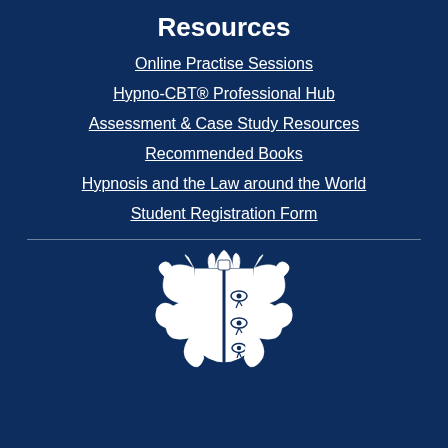Resources
Online Practise Sessions
Hypno-CBT® Professional Hub
Assessment & Case Study Resources
Recommended Books
Hypnosis and the Law around the World
Student Registration Form
[Figure (logo): Coat of arms / crest logo with shield featuring Eye of Horus symbols repeated three times, flanked by ornate floral/flame decorations, in white on dark blue background]